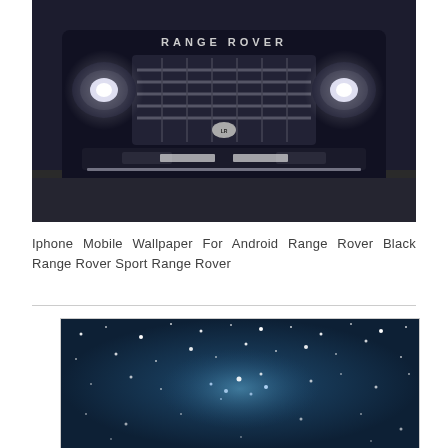[Figure (photo): Front view of a black Range Rover SUV with headlights on, photographed straight-on showing the grille with RANGE ROVER lettering and Land Rover logo. Dark background with pavement visible.]
Iphone Mobile Wallpaper For Android Range Rover Black Range Rover Sport Range Rover
[Figure (photo): Night sky photograph showing stars and a possible galaxy or nebula against a dark blue background.]